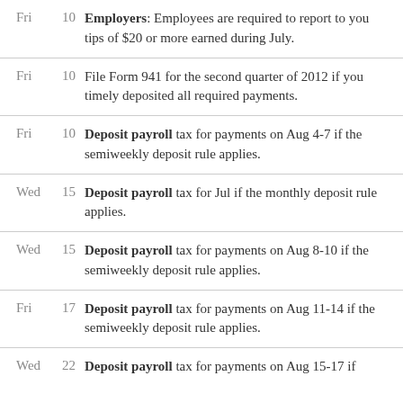Fri 10 Employers: Employees are required to report to you tips of $20 or more earned during July.
Fri 10 File Form 941 for the second quarter of 2012 if you timely deposited all required payments.
Fri 10 Deposit payroll tax for payments on Aug 4-7 if the semiweekly deposit rule applies.
Wed 15 Deposit payroll tax for Jul if the monthly deposit rule applies.
Wed 15 Deposit payroll tax for payments on Aug 8-10 if the semiweekly deposit rule applies.
Fri 17 Deposit payroll tax for payments on Aug 11-14 if the semiweekly deposit rule applies.
Wed 22 Deposit payroll tax for payments on Aug 15-17 if